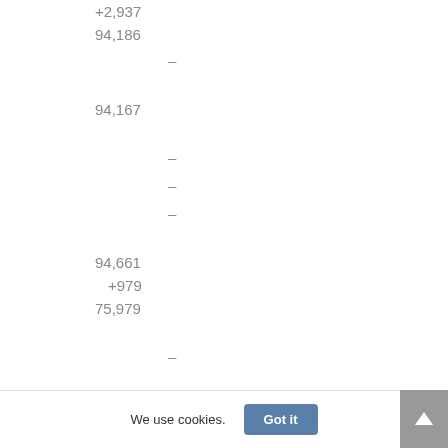+2,937
94,186
–
94,167
–
–
–
94,661
+979
75,979
–
94,167